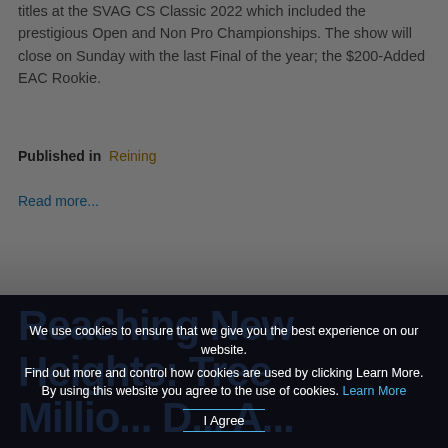titles at the SVAG CS Classic 2022 which included the prestigious Open and Non Pro Championships. The show will close on Sunday with the last Final of the year; the $200-Added EAC Rookie.
Published in Reining
Read more...
Reaching New Heights: Tree Millim... D... M...
We use cookies to ensure that we give you the best experience on our website. Find out more and control how cookies are used by clicking Learn More. By using this website you agree to the use of cookies. Learn More I Agree